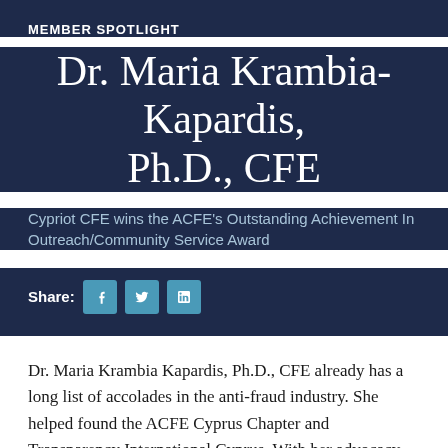MEMBER SPOTLIGHT
Dr. Maria Krambia-Kapardis, Ph.D., CFE
Cypriot CFE wins the ACFE's Outstanding Achievement In Outreach/Community Service Award
Share:
Dr. Maria Krambia Kapardis, Ph.D., CFE already has a long list of accolades in the anti-fraud industry. She helped found the ACFE Cyprus Chapter and Transparency International Cyprus. With her advocacy work and research, she has worked with the Ministry of Justice and Public Order in Cyprus to prepare legislation on